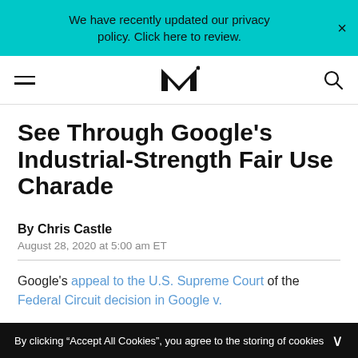We have recently updated our privacy policy. Click here to review.
[Figure (logo): MusicWatch (MK) logo navigation bar with hamburger menu and search icon]
See Through Google's Industrial-Strength Fair Use Charade
By Chris Castle
August 28, 2020 at 5:00 am ET
Google's appeal to the U.S. Supreme Court of the Federal Circuit decision in Google v. ...
By clicking "Accept All Cookies", you agree to the storing of cookies